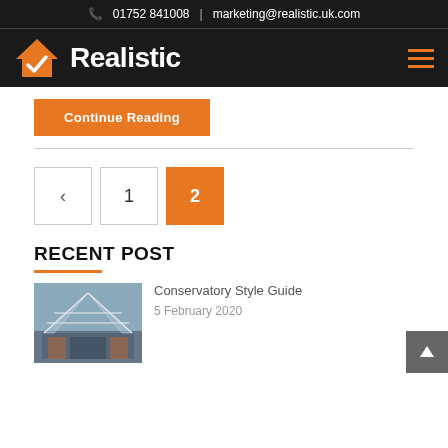📞 01752 841008  |  marketing@realistic.uk.com
[Figure (logo): Realistic logo with orange house icon and checkmark, white text on dark background, hamburger menu icon on right]
Continue Reading
< 1 2 (pagination)
RECENT POST
Conservatory Style Guide
5 February 2020
[Figure (photo): Thumbnail photo of a conservatory with glass roof]